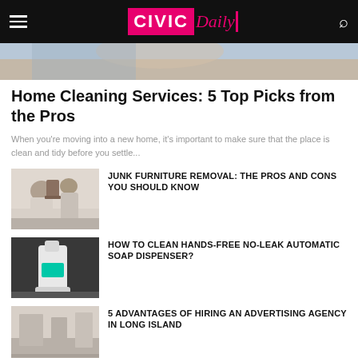CIVIC Daily
[Figure (photo): Hero image partial view, person cleaning]
Home Cleaning Services: 5 Top Picks from the Pros
When you're moving into a new home, it's important to make sure that the place is clean and tidy before you settle...
[Figure (photo): Two men carrying furniture outdoors]
JUNK FURNITURE REMOVAL: THE PROS AND CONS YOU SHOULD KNOW
[Figure (photo): Automatic soap dispenser with teal liquid window on dark background]
HOW TO CLEAN HANDS-FREE NO-LEAK AUTOMATIC SOAP DISPENSER?
[Figure (photo): Advertising agency office interior]
5 ADVANTAGES OF HIRING AN ADVERTISING AGENCY IN LONG ISLAND